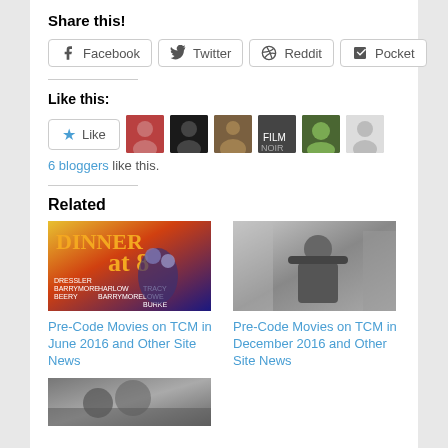Share this!
Facebook
Twitter
Reddit
Pocket
Like this:
6 bloggers like this.
Related
[Figure (photo): Movie poster for Dinner at 8 with cast names listed]
Pre-Code Movies on TCM in June 2016 and Other Site News
[Figure (photo): Black and white photo of a man in hat and suit]
Pre-Code Movies on TCM in December 2016 and Other Site News
[Figure (photo): Black and white photo, partial view at bottom]